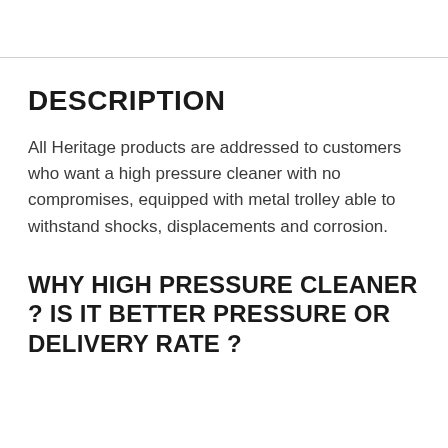DESCRIPTION
All Heritage products are addressed to customers who want a high pressure cleaner with no compromises, equipped with metal trolley able to withstand shocks, displacements and corrosion.
WHY HIGH PRESSURE CLEANER ? IS IT BETTER PRESSURE OR DELIVERY RATE ?